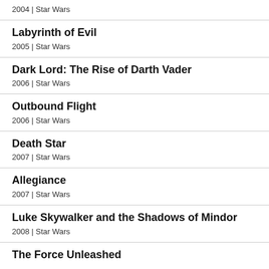2004 | Star Wars
Labyrinth of Evil
2005 | Star Wars
Dark Lord: The Rise of Darth Vader
2006 | Star Wars
Outbound Flight
2006 | Star Wars
Death Star
2007 | Star Wars
Allegiance
2007 | Star Wars
Luke Skywalker and the Shadows of Mindor
2008 | Star Wars
The Force Unleashed